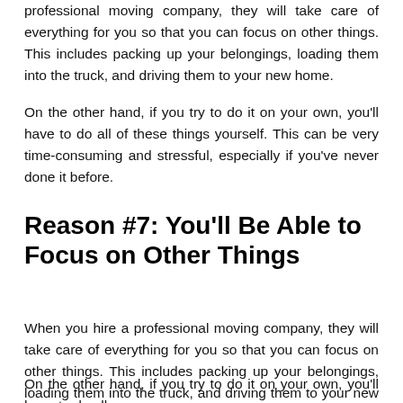professional moving company, they will take care of everything for you so that you can focus on other things. This includes packing up your belongings, loading them into the truck, and driving them to your new home.
On the other hand, if you try to do it on your own, you'll have to do all of these things yourself. This can be very time-consuming and stressful, especially if you've never done it before.
Reason #7: You'll Be Able to Focus on Other Things
When you hire a professional moving company, they will take care of everything for you so that you can focus on other things. This includes packing up your belongings, loading them into the truck, and driving them to your new home.
On the other hand, if you try to do it on your own, you'll have to do all